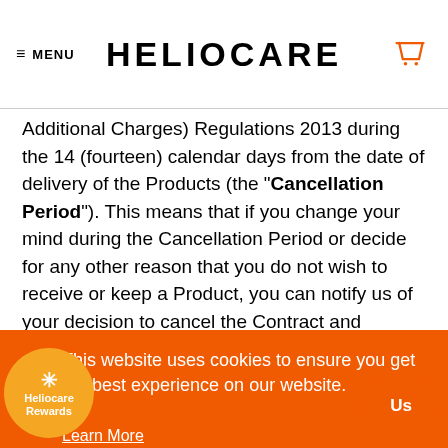MENU | HELIOCARE
Additional Charges) Regulations 2013 during the 14 (fourteen) calendar days from the date of delivery of the Products (the "Cancellation Period"). This means that if you change your mind during the Cancellation Period or decide for any other reason that you do not wish to receive or keep a Product, you can notify us of your decision to cancel the Contract and receive a full refund. Further advice
This website uses cookies to ensure you get the best experience on our website.
Learn More
Got it!
or by post to our registered office set out in clause ... if you